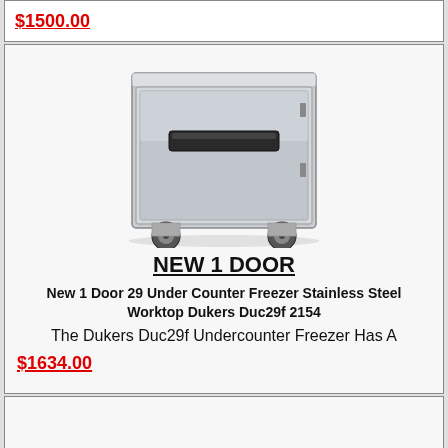$1500.00
[Figure (photo): Stainless steel single-door undercounter freezer on casters]
NEW 1 DOOR
New 1 Door 29 Under Counter Freezer Stainless Steel Worktop Dukers Duc29f 2154
The Dukers Duc29f Undercounter Freezer Has A
$1634.00